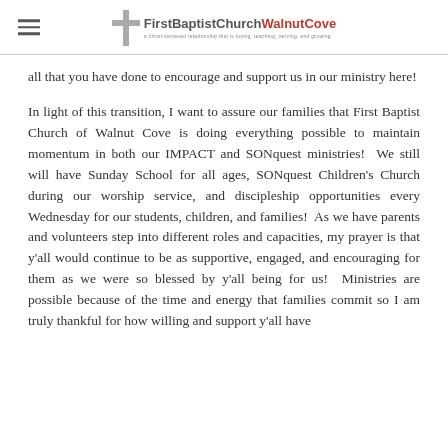First Baptist Church Walnut Cove
all that you have done to encourage and support us in our ministry here!
In light of this transition, I want to assure our families that First Baptist Church of Walnut Cove is doing everything possible to maintain momentum in both our IMPACT and SONquest ministries! We still will have Sunday School for all ages, SONquest Children's Church during our worship service, and discipleship opportunities every Wednesday for our students, children, and families! As we have parents and volunteers step into different roles and capacities, my prayer is that y'all would continue to be as supportive, engaged, and encouraging for them as we were so blessed by y'all being for us! Ministries are possible because of the time and energy that families commit so I am truly thankful for how willing and support y'all have